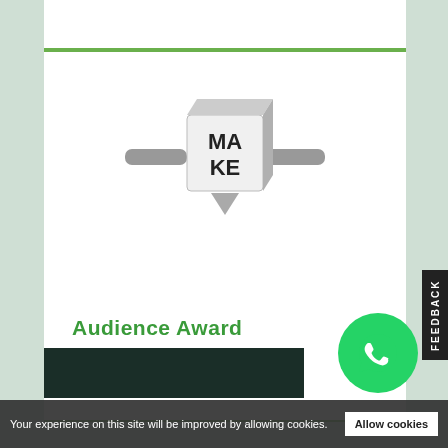[Figure (logo): MAKE award logo: a 3D cube with 'MA' on top and 'KE' below in bold black letters, mounted on a horizontal gray bar like a road sign, with a downward-pointing triangle at the bottom, rendered in gray 3D style]
Audience Award
MakeDnD
Your experience on this site will be improved by allowing cookies.
Allow cookies